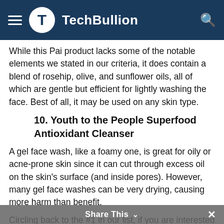TechBullion
While this Pai product lacks some of the notable elements we stated in our criteria, it does contain a blend of rosehip, olive, and sunflower oils, all of which are gentle but efficient for lightly washing the face. Best of all, it may be used on any skin type.
10. Youth to the People Superfood Antioxidant Cleanser
A gel face wash, like a foamy one, is great for oily or acne-prone skin since it can cut through excess oil on the skin's surface (and inside pores). However, many gel face washes can be very drying, causing more harm than benefit.
Circling back to the #1 in our list, if you are interested in knowing about their Neem best products that make them the best face wash for acne...